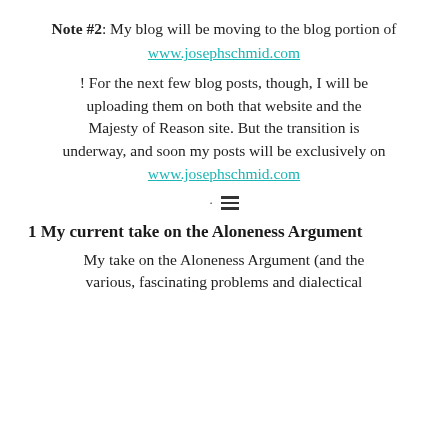Note #2: My blog will be moving to the blog portion of
www.josephschmid.com
! For the next few blog posts, though, I will be uploading them on both that website and the Majesty of Reason site. But the transition is underway, and soon my posts will be exclusively on
www.josephschmid.com
[Figure (other): Divider: a dot and a hamburger/lines icon]
1 My current take on the Aloneness Argument
My take on the Aloneness Argument (and the various, fascinating problems and dialectical